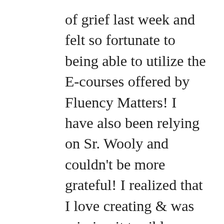of grief last week and felt so fortunate to being able to utilize the E-courses offered by Fluency Matters! I have also been relying on Sr. Wooly and couldn't be more grateful! I realized that I love creating & was missing it terribly. Jim's site,Sr. Wooly, really helped me & my family! We made a video based on 'Las excusas', we sang & created scenes with Legos & Barbies! I can't wait to share it with my students! My creative brain needed that! IT SAVED ME! Thank you for all your work! Thank you Fluency Matters team! Thank you Señor